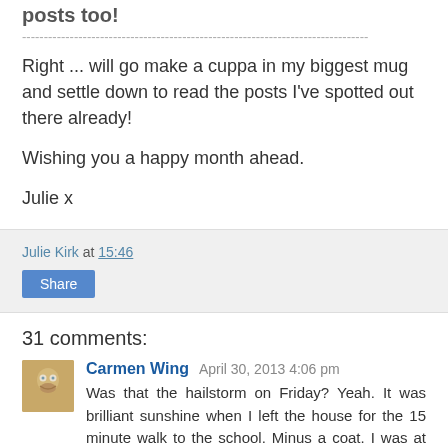posts too!
--------------------------------------------------------------------------------
Right ... will go make a cuppa in my biggest mug and settle down to read the posts I've spotted out there already!
Wishing you a happy month ahead.
Julie x
Julie Kirk at 15:46  Share
31 comments:
Carmen Wing  April 30, 2013 4:06 pm
Was that the hailstorm on Friday? Yeah. It was brilliant sunshine when I left the house for the 15 minute walk to the school. Minus a coat. I was at the school when it hit and